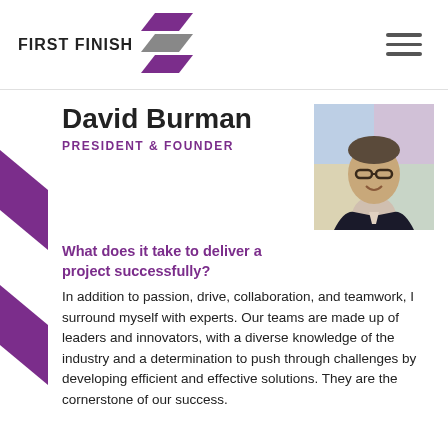FIRST FINISH
David Burman
PRESIDENT & FOUNDER
[Figure (photo): Headshot of David Burman, a middle-aged man with glasses, wearing a dark blazer, smiling, with a colorful background]
What does it take to deliver a project successfully?
In addition to passion, drive, collaboration, and teamwork, I surround myself with experts. Our teams are made up of leaders and innovators, with a diverse knowledge of the industry and a determination to push through challenges by developing efficient and effective solutions. They are the cornerstone of our success.